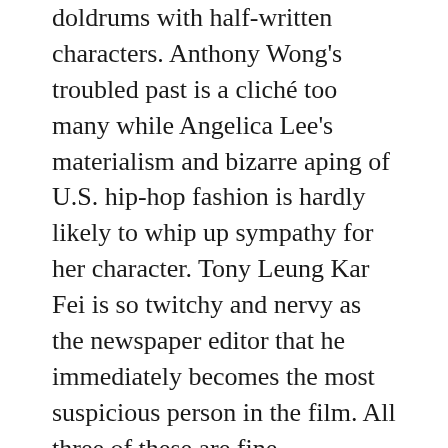doldrums with half-written characters. Anthony Wong's troubled past is a cliché too many while Angelica Lee's materialism and bizarre aping of U.S. hip-hop fashion is hardly likely to whip up sympathy for her character. Tony Leung Kar Fei is so twitchy and nervy as the newspaper editor that he immediately becomes the most suspicious person in the film. All three of these are fine performers and, despite said weaknesses in the writing, do the best they can with the material.
Although it's sad to see thrillers like this perform poorly at the box-office, it's far more disappointing to report that, despite the slick production values, 'A-1' cannot sustain any intrigue beyond its first ten minutes. There are moments of entertainment here,